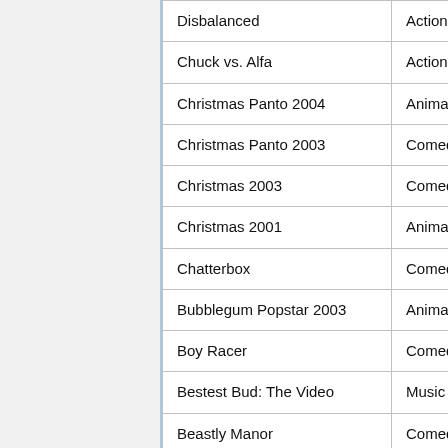| Title | Genre |
| --- | --- |
| Disbalanced | Action |
| Chuck vs. Alfa | Action |
| Christmas Panto 2004 | Animation |
| Christmas Panto 2003 | Comedy |
| Christmas 2003 | Comedy |
| Christmas 2001 | Animation |
| Chatterbox | Comedy |
| Bubblegum Popstar 2003 | Animation |
| Boy Racer | Comedy |
| Bestest Bud: The Video | Music Video |
| Beastly Manor | Comedy |
| I'm a Bubblegum Bod: August 27th | Animation |
| I'm a Bubblegum Bod: August 20th | Animation |
| I'm a Bubblegum Bod: | Animation |